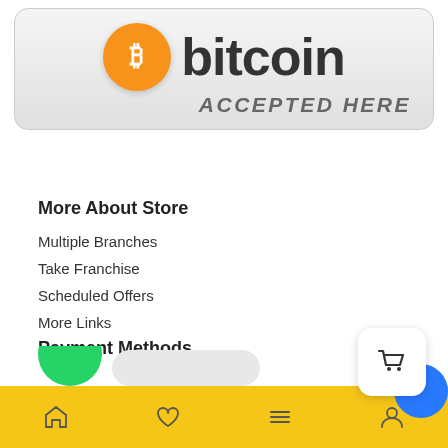[Figure (logo): Bitcoin Accepted Here badge with orange Bitcoin logo and dark text on light gray rounded rectangle background]
More About Store
Multiple Branches
Take Franchise
Scheduled Offers
More Links
Payment Methods
[Figure (logo): Payment method logos: PayPal (blue P logo with PayPal text), Venmo (blue text), Zelle (purple text with registered mark)]
[Figure (screenshot): Mobile app bottom navigation bar with yellow background showing home, heart, menu, and profile icons; shopping cart white bubble and blue chat bubble overlay]